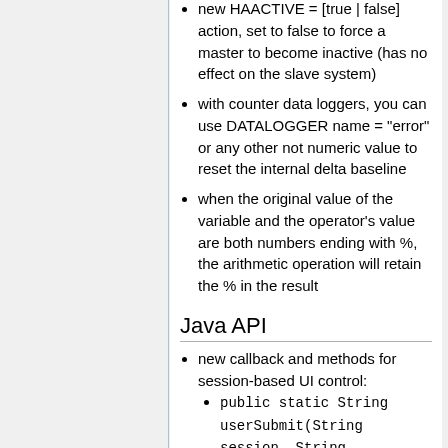new HAACTIVE = [true | false] action, set to false to force a master to become inactive (has no effect on the slave system)
with counter data loggers, you can use DATALOGGER name = "error" or any other not numeric value to reset the internal delta baseline
when the original value of the variable and the operator's value are both numbers ending with %, the arithmetic operation will retain the % in the result
Java API
new callback and methods for session-based UI control:
public static String userSubmit(String session, String